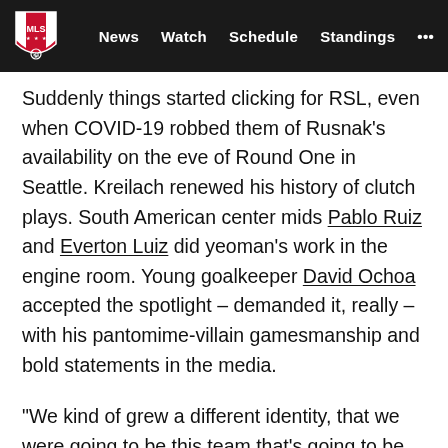MLS | News  Watch  Schedule  Standings  ...
Suddenly things started clicking for RSL, even when COVID-19 robbed them of Rusnak's availability on the eve of Round One in Seattle. Kreilach renewed his history of clutch plays. South American center mids Pablo Ruiz and Everton Luiz did yeoman's work in the engine room. Young goalkeeper David Ochoa accepted the spotlight – demanded it, really – with his pantomime-villain gamesmanship and bold statements in the media.
“We kind of grew a different identity, that we were going to be this team that’s going to be organized, and we can still play, but that we were going to manage